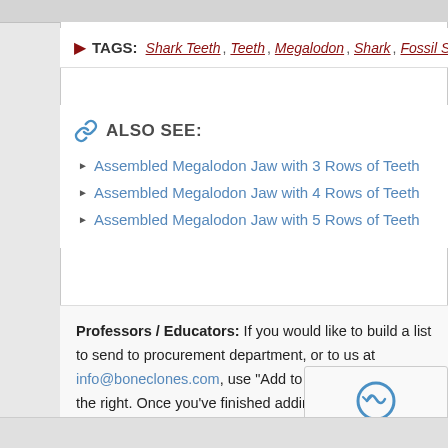TAGS: Shark Teeth , Teeth , Megalodon , Shark , Fossil Shark , Teeth Set
ALSO SEE:
Assembled Megalodon Jaw with 3 Rows of Teeth
Assembled Megalodon Jaw with 4 Rows of Teeth
Assembled Megalodon Jaw with 5 Rows of Teeth
Professors / Educators: If you would like to build a list to send to procurement department, or to us at info@boneclones.com, use "Add to Wishlist" button on the right. Once you've finished adding, go to your wishlist, and use the + button in the upper-right to e...